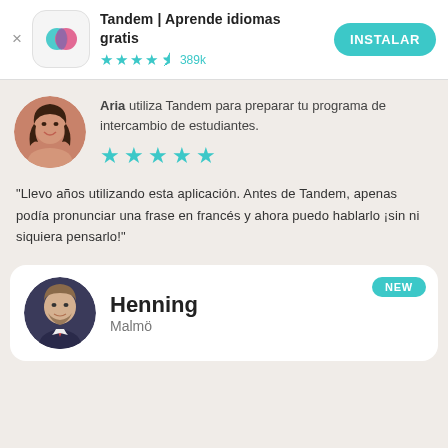[Figure (logo): Tandem app icon with overlapping teal and pink circles]
Tandem | Aprende idiomas gratis
★★★★½ 389k
INSTALAR
[Figure (photo): Circular profile photo of Aria, a woman with curly hair, smiling]
Aria utiliza Tandem para preparar tu programa de intercambio de estudiantes. ★★★★★
"Llevo años utilizando esta aplicación. Antes de Tandem, apenas podía pronunciar una frase en francés y ahora puedo hablarlo ¡sin ni siquiera pensarlo!"
[Figure (photo): Circular profile photo of Henning, a man in a suit]
Henning
Malmö
NEW